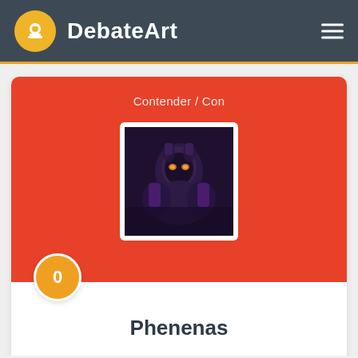DebateArt
Contender / Con
[Figure (photo): User avatar image - dark themed illustration with purple and dark tones]
0
Phenenas
1522
rating
13
debates
53.85%
won